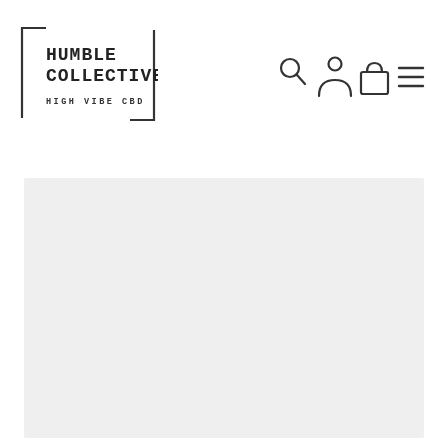[Figure (logo): Humble Collective High Vibe CBD logo with bracket border and typewriter font]
[Figure (screenshot): Navigation bar icons: search (magnifying glass), account (person), cart (shopping bag), menu (hamburger/three lines)]
[Figure (other): Light gray content/image placeholder area below the navigation header]